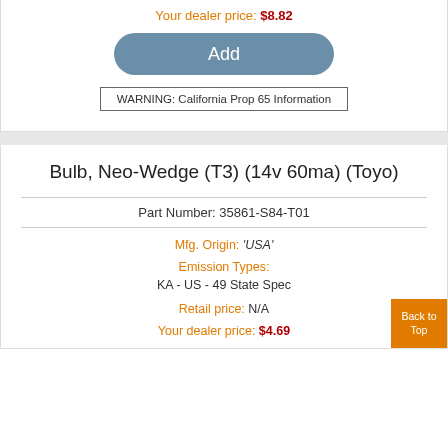Your dealer price: $8.82
Add
WARNING: California Prop 65 Information
Bulb, Neo-Wedge (T3) (14v 60ma) (Toyo)
Part Number: 35861-S84-T01
Mfg. Origin: 'USA'
Emission Types:
KA - US - 49 State Spec
Retail price: N/A
Your dealer price: $4.69